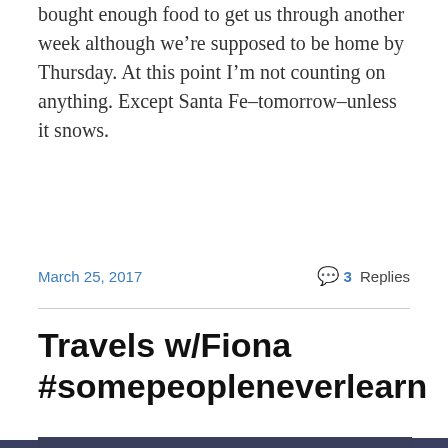bought enough food to get us through another week although we're supposed to be home by Thursday. At this point I'm not counting on anything. Except Santa Fe–tomorrow–unless it snows.
March 25, 2017
3 Replies
Travels w/Fiona #somepeopleneverlearn
[Figure (photo): A vintage-style postcard reading 'Greetings from' with large letters containing scenic images, partially visible. A smaller photo of a car on a dirt road is overlaid at the top.]